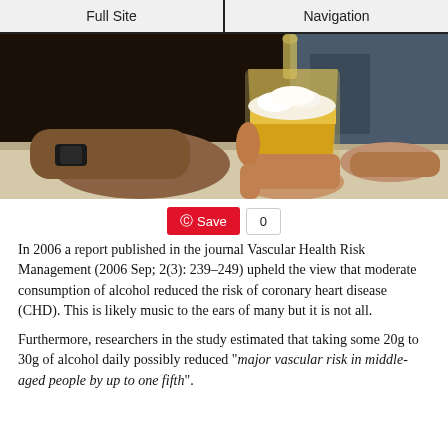Full Site | Navigation
[Figure (photo): A hand holding a glass of beer being filled, with another person's hand visible in the background on a bar surface.]
Save 0
In 2006 a report published in the journal Vascular Health Risk Management (2006 Sep; 2(3): 239–249) upheld the view that moderate consumption of alcohol reduced the risk of coronary heart disease (CHD). This is likely music to the ears of many but it is not all.
Furthermore, researchers in the study estimated that taking some 20g to 30g of alcohol daily possibly reduced "major vascular risk in middle-aged people by up to one fifth".